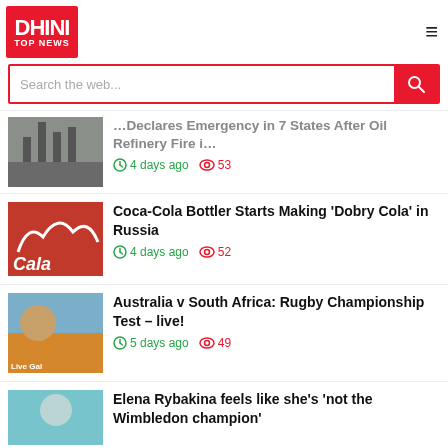DHINI TOP NEWS
Search the web...
...Declares Emergency in 7 States After Oil Refinery Fire i... — 4 days ago — 53 views
Coca-Cola Bottler Starts Making 'Dobry Cola' in Russia — 4 days ago — 52 views
Australia v South Africa: Rugby Championship Test – live! — 5 days ago — 49 views
Elena Rybakina feels like she's 'not the Wimbledon champion'